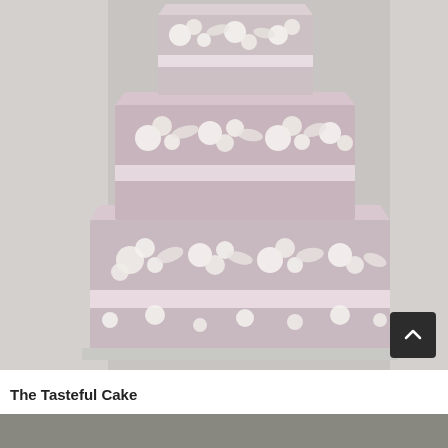[Figure (photo): A three-tiered square wedding cake with lavender/blush fondant and white floral lace appliqué decorations covering each tier. The cake sits on a silver board against a neutral grey background.]
The Tasteful Cake